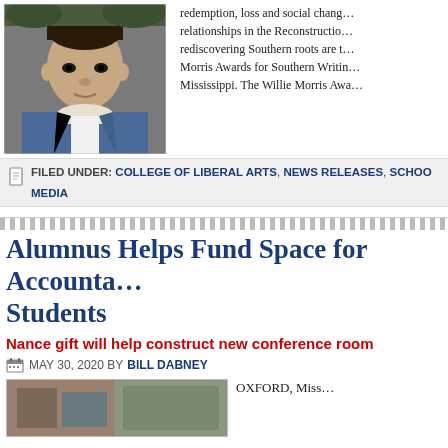[Figure (photo): Portrait photo of a young man wearing a denim jacket with sherpa collar, looking at the camera outdoors]
redemption, loss and social change, relationships in the Reconstruction, rediscovering Southern roots are the Willie Morris Awards for Southern Writing, Mississippi. The Willie Morris Awa
FILED UNDER: COLLEGE OF LIBERAL ARTS, NEWS RELEASES, SCHOOL... MEDIA
Alumnus Helps Fund Space for Accounta... Students
Nance gift will help construct new conference room
MAY 30, 2020 BY BILL DABNEY
[Figure (photo): Two partial photos at the bottom of the page showing buildings or people]
OXFORD, Miss...